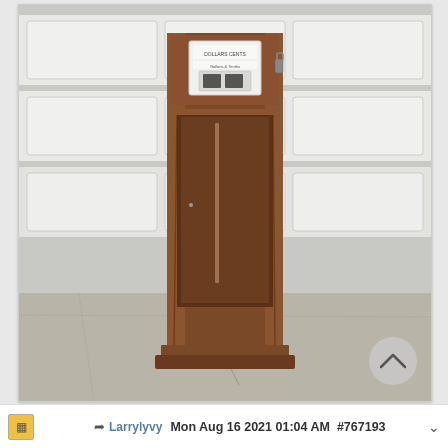[Figure (photo): An old rusty metal gasoline pump or similar industrial dispenser cabinet with the door open, standing on a concrete driveway in front of a white garage door. The cabinet is tall and narrow, heavily rusted brown, with a meter/gauge panel at the top and mounting flanges at the base. A scroll-up button (chevron arrow) is visible in the lower-right corner of the photo.]
LarrylvyMon Aug 16 2021 01:04 AM #767193